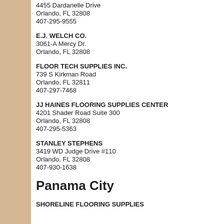CISCO FLOORING SUPPLIES
4455 Dardanelle Drive
Orlando, FL 32808
407-295-9555
E.J. WELCH CO.
3061-A Mercy Dr.
Orlando, FL 32808
FLOOR TECH SUPPLIES INC.
739 S Kirkman Road
Orlando, FL 32811
407-297-7468
JJ HAINES FLOORING SUPPLIES CENTER
4201 Shader Road Suite 300
Orlando, FL 32808
407-295-5363
STANLEY STEPHENS
3419 WD Judge Drive #110
Orlando, FL 32808
407-930-1638
Panama City
SHORELINE FLOORING SUPPLIES